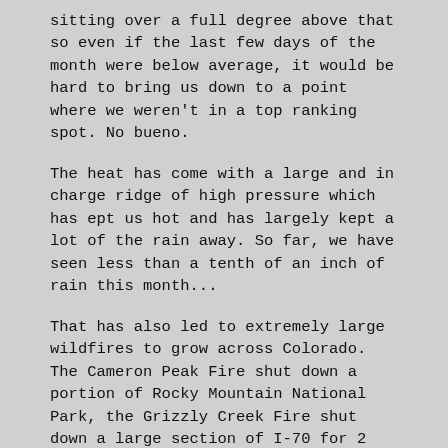sitting over a full degree above that so even if the last few days of the month were below average, it would be hard to bring us down to a point where we weren't in a top ranking spot. No bueno.
The heat has come with a large and in charge ridge of high pressure which has ept us hot and has largely kept a lot of the rain away. So far, we have seen less than a tenth of an inch of rain this month...
That has also led to extremely large wildfires to grow across Colorado. The Cameron Peak Fire shut down a portion of Rocky Mountain National Park, the Grizzly Creek Fire shut down a large section of I-70 for 2 weeks, the Williams Fork Fire was started by humans no completely putting out a campfire which led to an influx of smoke across the Denver Metro and the Pine Gulch Fire which is the second largest fire in Colorado's history.